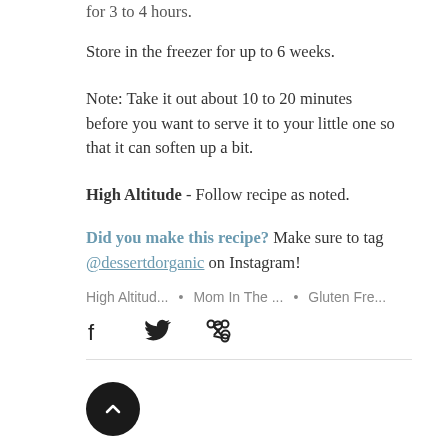for 3 to 4 hours.
Store in the freezer for up to 6 weeks.
Note: Take it out about 10 to 20 minutes before you want to serve it to your little one so that it can soften up a bit.
High Altitude - Follow recipe as noted.
Did you make this recipe? Make sure to tag @dessertdorganic on Instagram!
High Altitud... • Mom In The ... • Gluten Fre...
[Figure (other): Social share icons: Facebook, Twitter, link/chain icon]
[Figure (other): Scroll-to-top circular button with upward chevron arrow]